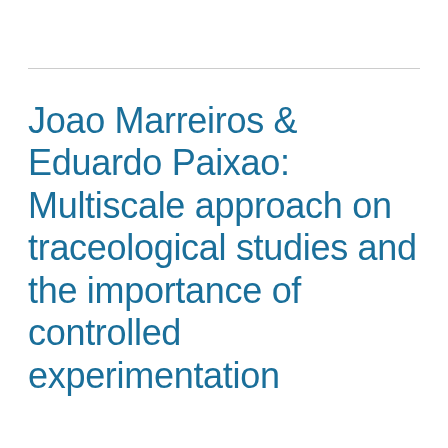Joao Marreiros & Eduardo Paixao: Multiscale approach on traceological studies and the importance of controlled experimentation